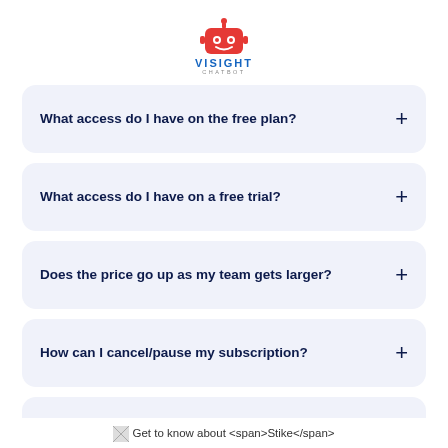[Figure (logo): Visight Chatbot logo — red robot face icon above VISIGHT in blue bold uppercase and CHATBOT in grey small caps]
What access do I have on the free plan? +
What access do I have on a free trial? +
Does the price go up as my team gets larger? +
How can I cancel/pause my subscription? +
Can I pay via invoicing? +
[img] Get to know about <span>Stike</span>